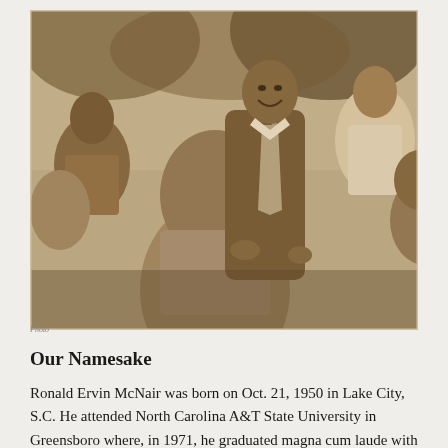[Figure (photo): Black and white sepia-toned photograph of Ronald McNair as a young man, smiling and surrounded by several other people, appearing to be in conversation. The image has a vintage, mid-20th century quality.]
Photo credit caption below image
Our Namesake
Ronald Ervin McNair was born on Oct. 21, 1950 in Lake City, S.C. He attended North Carolina A&T State University in Greensboro where, in 1971, he graduated magna cum laude with a bachelor's degree in physics. In 1976, he earned his doctorate degree in physics from the Massachusetts Institute of Technology.